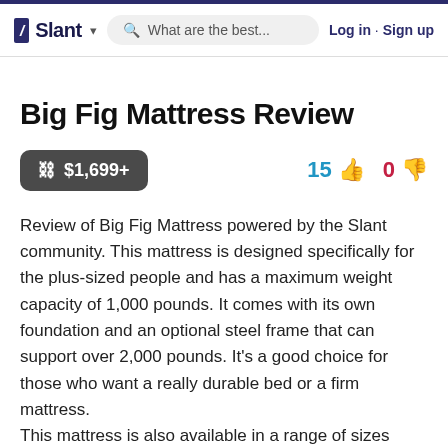/ Slant   What are the best...   Log in · Sign up
Big Fig Mattress Review
$1,699+   15  0
Review of Big Fig Mattress powered by the Slant community. This mattress is designed specifically for the plus-sized people and has a maximum weight capacity of 1,000 pounds. It comes with its own foundation and an optional steel frame that can support over 2,000 pounds. It's a good choice for those who want a really durable bed or a firm mattress.
This mattress is also available in a range of sizes from Twin to California king, for $1,199-$1,899.